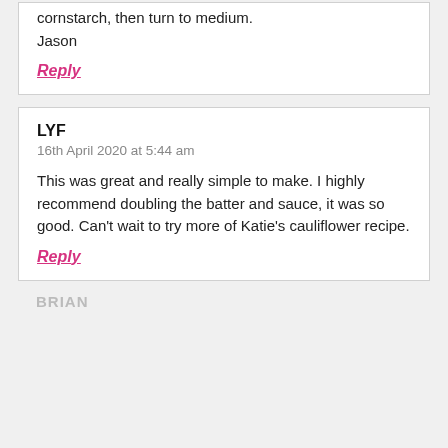cornstarch, then turn to medium.
Jason
Reply
LYF
16th April 2020 at 5:44 am
This was great and really simple to make. I highly recommend doubling the batter and sauce, it was so good. Can't wait to try more of Katie's cauliflower recipe.
Reply
BRIAN